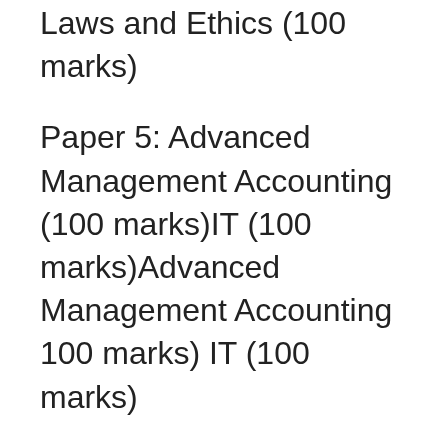Laws and Ethics (100 marks)
Paper 5: Advanced Management Accounting (100 marks)IT (100 marks)Advanced Management Accounting 100 marks) IT (100 marks)
Paper 6: Information Systems Control and Audit (100 marks) Information Systems Control and Audit (100 marks)